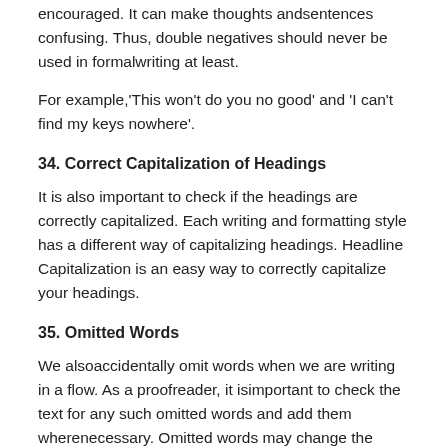encouraged. It can make thoughts andsentences confusing. Thus, double negatives should never be used in formalwriting at least.
For example,'This won't do you no good' and 'I can't find my keys nowhere'.
34. Correct Capitalization of Headings
It is also important to check if the headings are correctly capitalized. Each writing and formatting style has a different way of capitalizing headings. Headline Capitalization is an easy way to correctly capitalize your headings.
35. Omitted Words
We alsoaccidentally omit words when we are writing in a flow. As a proofreader, it isimportant to check the text for any such omitted words and add them wherenecessary. Omitted words may change the